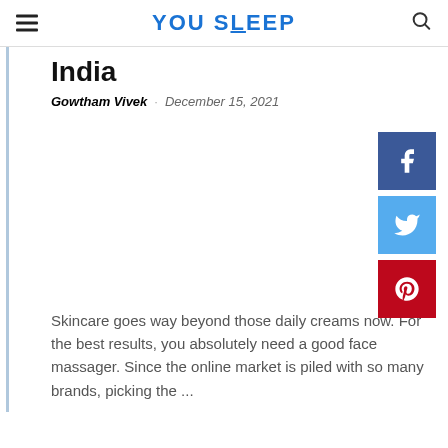YOU SLEEP
India
Gowtham Vivek · December 15, 2021
[Figure (infographic): Social media share buttons: Facebook (blue), Twitter (light blue), Pinterest (red)]
Skincare goes way beyond those daily creams now. For the best results, you absolutely need a good face massager. Since the online market is piled with so many brands, picking the ...